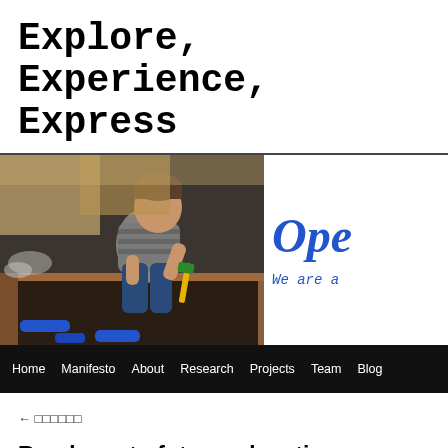Explore, Experience, Express
[Figure (screenshot): Website screenshot showing a child hammering nails into a wooden raised garden bed outdoors, alongside a partial view of blue italic text reading 'Ope' and 'We are a' on white background, with a black navigation bar below containing links: Home, Manifesto, About, Research, Projects, Team, Blog]
← □□□□□□
Roadmap to future education